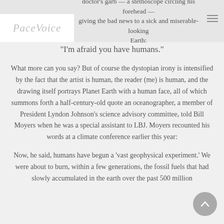doctor's garb — a stethoscope circling his forehead — giving the bad news to a sick and miserable-looking Earth:
[Figure (logo): PaceVoice logo in cursive italic gray text on white background]
“I’m afraid you have humans.”
What more can you say? But of course the dystopian irony is intensified by the fact that the artist is human, the reader (me) is human, and the drawing itself portrays Planet Earth with a human face, all of which summons forth a half-century-old quote an oceanographer, a member of President Lyndon Johnson’s science advisory committee, told Bill Moyers when he was a special assistant to LBJ. Moyers recounted his words at a climate conference earlier this year:
Now, he said, humans have begun a ‘vast geophysical experiment.’ We were about to burn, within a few generations, the fossil fuels that had slowly accumulated in the earth over the past 500 million